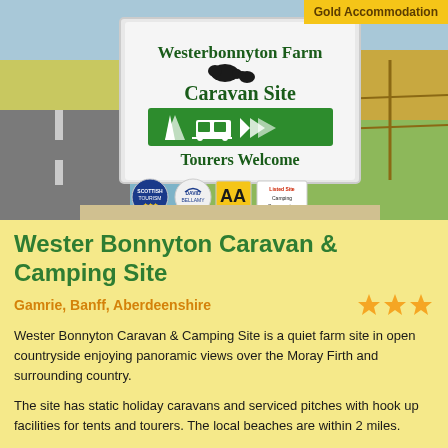Gold Accommodation
[Figure (photo): Photo of a caravan site sign reading 'Westerbonnyton Farm Caravan Site Tourers Welcome' with award plaques including AA and Scottish Tourism signs, set in open countryside with green fields and blue sky.]
Wester Bonnyton Caravan & Camping Site
Gamrie, Banff, Aberdeenshire
Wester Bonnyton Caravan & Camping Site is a quiet farm site in open countryside enjoying panoramic views over the Moray Firth and surrounding country.
The site has static holiday caravans and serviced pitches with hook up facilities for tents and tourers. The local beaches are within 2 miles.